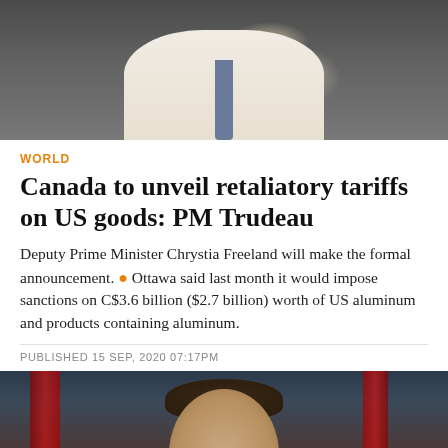[Figure (photo): Person in white dress shirt with blue tie, seated, holding a glass, dark background]
WORLD
Canada to unveil retaliatory tariffs on US goods: PM Trudeau
Deputy Prime Minister Chrystia Freeland will make the formal announcement. • Ottawa said last month it would impose sanctions on C$3.6 billion ($2.7 billion) worth of US aluminum and products containing aluminum.
PUBLISHED 15 SEP, 2020 07:17PM
[Figure (photo): PM Justin Trudeau headshot with red flags in background, looking upward, dark hair]